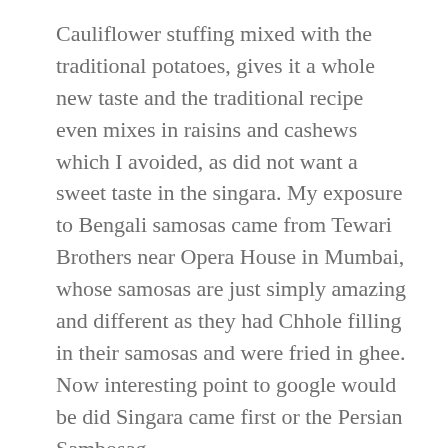Cauliflower stuffing mixed with the traditional potatoes, gives it a whole new taste and the traditional recipe even mixes in raisins and cashews which I avoided, as did not want a sweet taste in the singara. My exposure to Bengali samosas came from Tewari Brothers near Opera House in Mumbai, whose samosas are just simply amazing and different as they had Chhole filling in their samosas and were fried in ghee. Now interesting point to google would be did Singara came first or the Persian Sambosag
So while searching for that recipe, I came across the Aloo Gobi Singara which was definitely different in taste with an interesting look, so thought why not start the Diwali festivities with a new take on an all time favorite Samosas!! Addition of whole spices of fennel seeds, coriander seeds and cumin seeds as well as a good amount of aamchur and roasted cumin gives it a good depth and blends the cauliflower and potatoes into a nice tangy